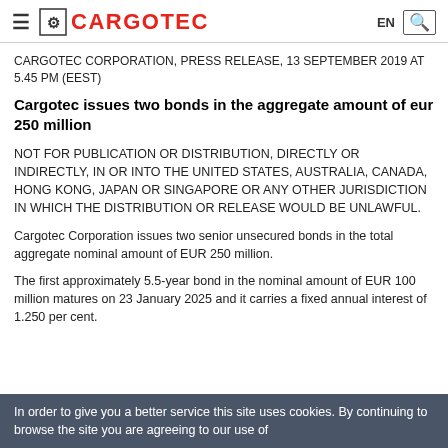CARGOTEC (logo and navigation)
CARGOTEC CORPORATION, PRESS RELEASE, 13 SEPTEMBER 2019 AT 5.45 PM (EEST)
Cargotec issues two bonds in the aggregate amount of eur 250 million
NOT FOR PUBLICATION OR DISTRIBUTION, DIRECTLY OR INDIRECTLY, IN OR INTO THE UNITED STATES, AUSTRALIA, CANADA, HONG KONG, JAPAN OR SINGAPORE OR ANY OTHER JURISDICTION IN WHICH THE DISTRIBUTION OR RELEASE WOULD BE UNLAWFUL.
Cargotec Corporation issues two senior unsecured bonds in the total aggregate nominal amount of EUR 250 million.
The first approximately 5.5-year bond in the nominal amount of EUR 100 million matures on 23 January 2025 and it carries a fixed annual interest of 1.250 per cent.
In order to give you a better service this site uses cookies. By continuing to browse the site you are agreeing to our use of